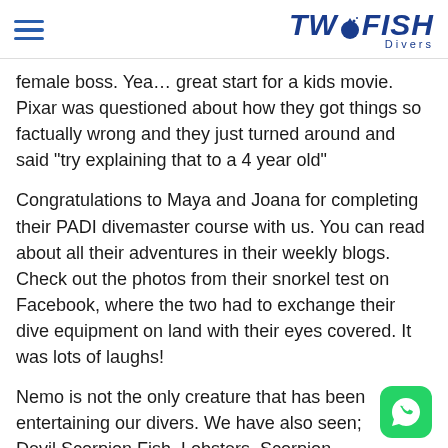Two Fish Divers
female boss. Yea… great start for a kids movie. Pixar was questioned about how they got things so factually wrong and they just turned around and said "try explaining that to a 4 year old"
Congratulations to Maya and Joana for completing their PADI divemaster course with us. You can read about all their adventures in their weekly blogs. Check out the photos from their snorkel test on Facebook, where the two had to exchange their dive equipment on land with their eyes covered. It was lots of laughs!
Nemo is not the only creature that has been entertaining our divers. We have also seen; Devil Scorpion Fish, Lobsters, Scorpion Fish, Manta Rays, Lion Fish, Giant Trevally, Barracudas, Needle Nose Fish, Crocodile Fish and Turtles.